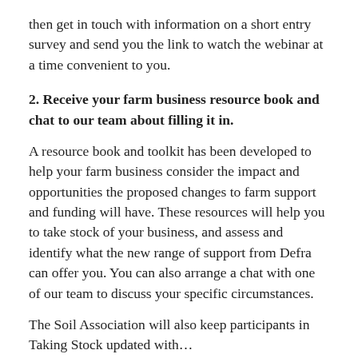then get in touch with information on a short entry survey and send you the link to watch the webinar at a time convenient to you.
2. Receive your farm business resource book and chat to our team about filling it in.
A resource book and toolkit has been developed to help your farm business consider the impact and opportunities the proposed changes to farm support and funding will have. These resources will help you to take stock of your business, and assess and identify what the new range of support from Defra can offer you. You can also arrange a chat with one of our team to discuss your specific circumstances.
The Soil Association will also keep participants in Taking Stock updated with…